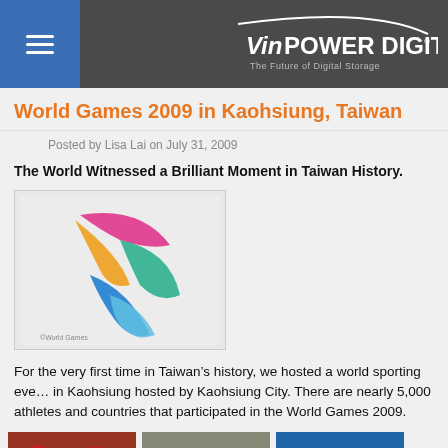Vinpower Digital — The Future of Digital Storage
World Games 2009 in Kaohsiung, Taiwan
Posted by Lisa Lai on July 31, 2009
The World Witnessed a Brilliant Moment in Taiwan History.
[Figure (logo): World Games 2009 Kaohsiung colorful ribbon logo]
For the very first time in Taiwan’s history, we hosted a world sporting event in Kaohsiung hosted by Kaohsiung City. There are nearly 5,000 athletes and countries that participated in the World Games 2009.
[Figure (photo): Athletes in red uniforms competing in a team sport]
[Figure (photo): Gymnast performing with orange ribbon on gray background]
[Figure (photo): Water polo players celebrating in blue water]